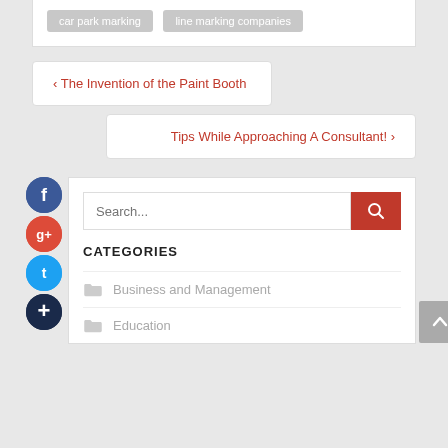car park marking
line marking companies
‹ The Invention of the Paint Booth
Tips While Approaching A Consultant! ›
Search...
CATEGORIES
Business and Management
Education